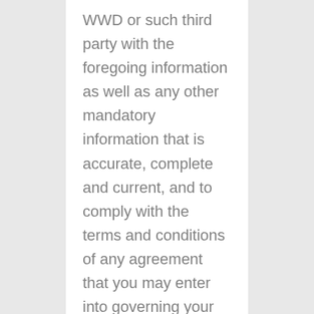WWD or such third party with the foregoing information as well as any other mandatory information that is accurate, complete and current, and to comply with the terms and conditions of any agreement that you may enter into governing your purchase of the product or Service. You shall be responsible for all charges incurred through your account as well as for paying any applicable